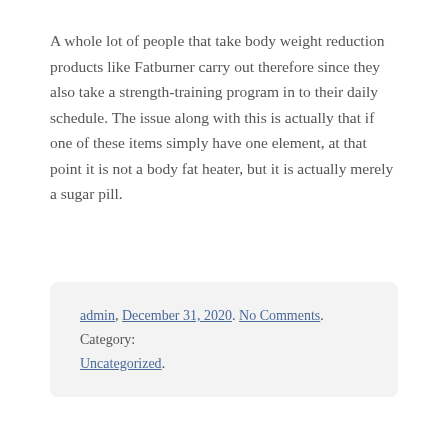A whole lot of people that take body weight reduction products like Fatburner carry out therefore since they also take a strength-training program in to their daily schedule. The issue along with this is actually that if one of these items simply have one element, at that point it is not a body fat heater, but it is actually merely a sugar pill.
admin, December 31, 2020. No Comments. Category: Uncategorized.